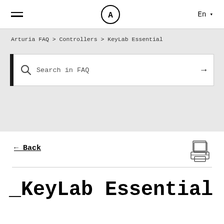≡  A  En ▾
Arturia FAQ > Controllers > KeyLab Essential
[Figure (screenshot): Search bar with magnifying glass icon, placeholder text 'Search in FAQ', and right arrow button. Left edge has a black vertical bar accent.]
← Back
[Figure (illustration): Print/document icon in the top right corner of the content card]
_KeyLab Essential